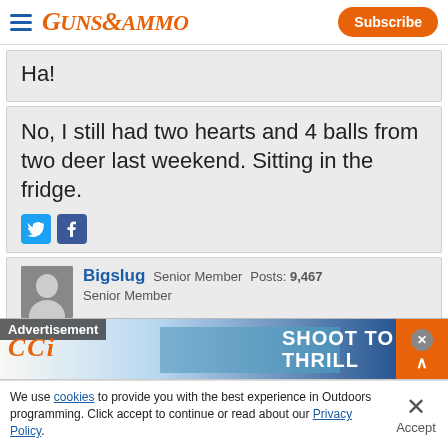Guns & Ammo | Subscribe
Ha!
No, I still had two hearts and 4 balls from two deer last weekend. Sitting in the fridge.
[Figure (screenshot): Twitter and Facebook share icons]
Bigslug Senior Member Posts: 9,467
[Figure (screenshot): CCI Advertisement banner: SHOOT TO THRILL]
We use cookies to provide you with the best experience in Outdoors programming. Click accept to continue or read about our Privacy Policy.